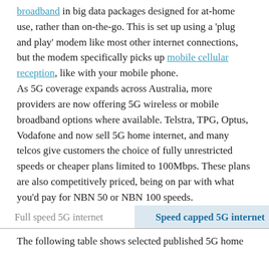broadband in big data packages designed for at-home use, rather than on-the-go. This is set up using a 'plug and play' modem like most other internet connections, but the modem specifically picks up mobile cellular reception, like with your mobile phone.
As 5G coverage expands across Australia, more providers are now offering 5G wireless or mobile broadband options where available. Telstra, TPG, Optus, Vodafone and now sell 5G home internet, and many telcos give customers the choice of fully unrestricted speeds or cheaper plans limited to 100Mbps. These plans are also competitively priced, being on par with what you'd pay for NBN 50 or NBN 100 speeds.
| Full speed 5G internet | Speed capped 5G internet |
| --- | --- |
The following table shows selected published 5G home